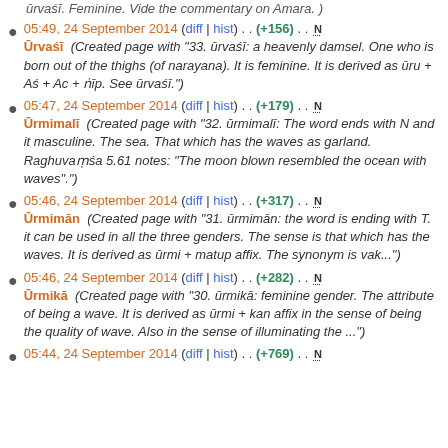ūrvaśī. Feminine. Vide the commentary on Amara. )
05:49, 24 September 2014 (diff | hist) . . (+156) . . N Ūrvaśī (Created page with "33. ūrvaśī: a heavenly damsel. One who is born out of the thighs (of narayana). It is feminine. It is derived as ūru + Aś + Ac + ṅīp. See ūrvaśī.")
05:47, 24 September 2014 (diff | hist) . . (+179) . . N Ūrmimalī (Created page with "32. ūrmimalī: The word ends with N and it masculine. The sea. That which has the waves as garland. Raghuvaṃśa 5.61 notes: "The moon blown resembled the ocean with waves".")
05:46, 24 September 2014 (diff | hist) . . (+317) . . N Ūrmimān (Created page with "31. ūrmimān: the word is ending with T. it can be used in all the three genders. The sense is that which has the waves. It is derived as ūrmi + matup affix. The synonym is vak...")
05:46, 24 September 2014 (diff | hist) . . (+282) . . N Ūrmikā (Created page with "30. ūrmikā: feminine gender. The attribute of being a wave. It is derived as ūrmi + kan affix in the sense of being the quality of wave. Also in the sense of illuminating the ...")
05:44, 24 September 2014 (diff | hist) . . (+769) . . N